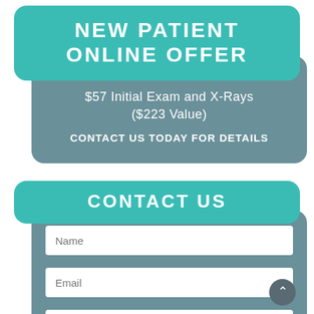NEW PATIENT ONLINE OFFER
$57 Initial Exam and X-Rays ($223 Value)
CONTACT US TODAY FOR DETAILS
CONTACT US
[Figure (screenshot): Contact form with Name, Email, and Phone fields on a teal/gray background]